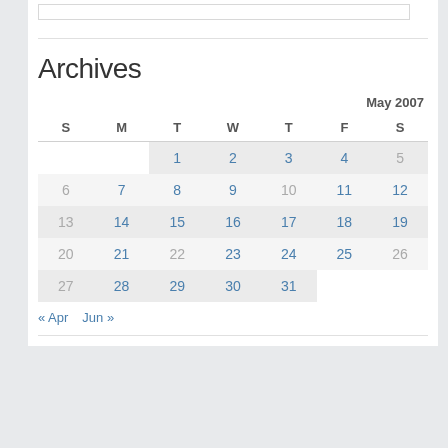Archives
| S | M | T | W | T | F | S |
| --- | --- | --- | --- | --- | --- | --- |
|  |  | 1 | 2 | 3 | 4 | 5 |
| 6 | 7 | 8 | 9 | 10 | 11 | 12 |
| 13 | 14 | 15 | 16 | 17 | 18 | 19 |
| 20 | 21 | 22 | 23 | 24 | 25 | 26 |
| 27 | 28 | 29 | 30 | 31 |  |  |
« Apr   Jun »